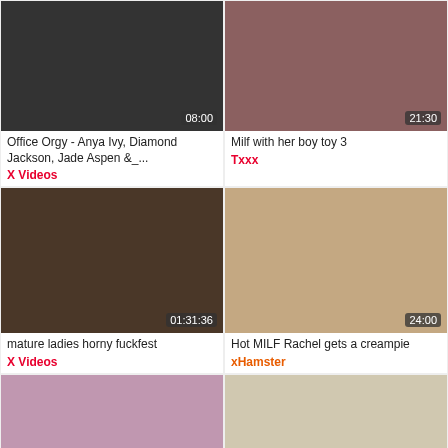[Figure (screenshot): Video thumbnail - Office Orgy with timer 08:00]
Office Orgy - Anya Ivy, Diamond Jackson, Jade Aspen &_...
X Videos
[Figure (screenshot): Video thumbnail - Milf with her boy toy 3 with timer 21:30]
Milf with her boy toy 3
Txxx
[Figure (screenshot): Video thumbnail - mature ladies horny fuckfest with timer 01:31:36]
mature ladies horny fuckfest
X Videos
[Figure (screenshot): Video thumbnail - Hot MILF Rachel gets a creampie with timer 24:00]
Hot MILF Rachel gets a creampie
xHamster
[Figure (screenshot): Video thumbnail with timer 05:01]
[Figure (screenshot): Video thumbnail with timer 29:41]